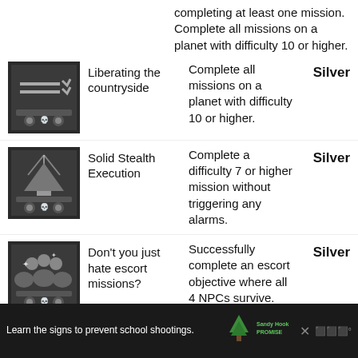completing at least one mission. Complete all missions on a planet with difficulty 10 or higher.
Liberating the countryside | Complete all missions on a planet with difficulty 10 or higher. | Silver
Solid Stealth Execution | Complete a difficulty 7 or higher mission without triggering any alarms. | Silver
Don't you just hate escort missions? | Successfully complete an escort objective where all 4 NPCs survive. | Silver
Complete a
Learn the signs to prevent school shootings.